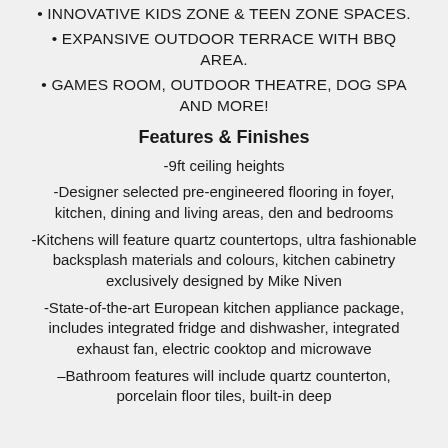• INNOVATIVE KIDS ZONE & TEEN ZONE SPACES.
• EXPANSIVE OUTDOOR TERRACE WITH BBQ AREA.
• GAMES ROOM, OUTDOOR THEATRE, DOG SPA AND MORE!
Features & Finishes
-9ft ceiling heights
-Designer selected pre-engineered flooring in foyer, kitchen, dining and living areas, den and bedrooms
-Kitchens will feature quartz countertops, ultra fashionable backsplash materials and colours, kitchen cabinetry exclusively designed by Mike Niven
-State-of-the-art European kitchen appliance package, includes integrated fridge and dishwasher, integrated exhaust fan, electric cooktop and microwave
–Bathroom features will include quartz counterton, porcelain floor tiles, built-in deep